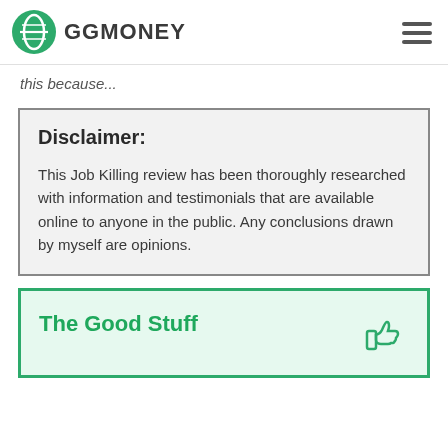GGMONEY
this because...
Disclaimer:

This Job Killing review has been thoroughly researched with information and testimonials that are available online to anyone in the public. Any conclusions drawn by myself are opinions.
The Good Stuff